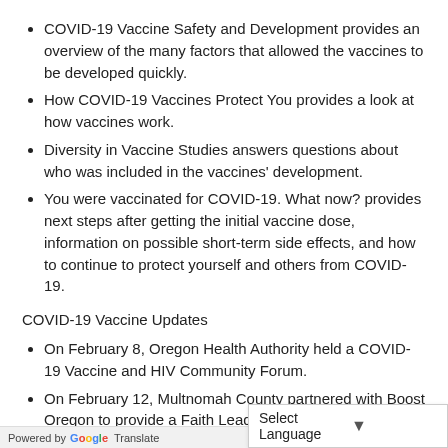COVID-19 Vaccine Safety and Development provides an overview of the many factors that allowed the vaccines to be developed quickly.
How COVID-19 Vaccines Protect You provides a look at how vaccines work.
Diversity in Vaccine Studies answers questions about who was included in the vaccines' development.
You were vaccinated for COVID-19. What now? provides next steps after getting the initial vaccine dose, information on possible short-term side effects, and how to continue to protect yourself and others from COVID-19.
COVID-19 Vaccine Updates
On February 8, Oregon Health Authority held a COVID-19 Vaccine and HIV Community Forum.
On February 12, Multnomah County partnered with Boost Oregon to provide a Faith Leaders COVID-19 Vaccine Workshop.
Multnomah County's REACH program will host two events...